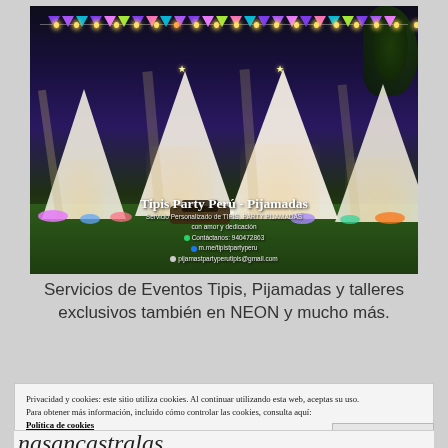[Figure (photo): Nighttime outdoor party setup with white tipis/teepees decorated with string lights and colorful bunting banners on grass. Text overlay reads: Tipis Party Perú - Pijamadas, Servicio Personalizado de TIPIS, PARTY PIJAMADAS, con amor y dedicación, Contáctanos: 940472863, m.me/tipistpartyperu, pijamastpartyperutipis@gmail.com]
Servicios de Eventos Tipis, Pijamadas y talleres exclusivos también en NEON y mucho más.
Privacidad y cookies: este sitio utiliza cookies. Al continuar utilizando esta web, aceptas su uso.
Para obtener más información, incluido cómo controlar las cookies, consulta aquí:
Política de cookies
Cerrar y aceptar
nasancastralas